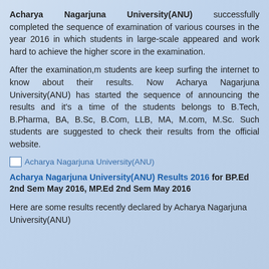Acharya Nagarjuna University(ANU) successfully completed the sequence of examination of various courses in the year 2016 in which students in large-scale appeared and work hard to achieve the higher score in the examination.
After the examination,m students are keep surfing the internet to know about their results. Now Acharya Nagarjuna University(ANU) has started the sequence of announcing the results and it's a time of the students belongs to B.Tech, B.Pharma, BA, B.Sc, B.Com, LLB, MA, M.com, M.Sc. Such students are suggested to check their results from the official website.
[Figure (other): Broken image placeholder with alt text: Acharya Nagarjuna University(ANU)]
Acharya Nagarjuna University(ANU) Results 2016 for BP.Ed 2nd Sem May 2016, MP.Ed 2nd Sem May 2016
Here are some results recently declared by Acharya Nagarjuna University(ANU)